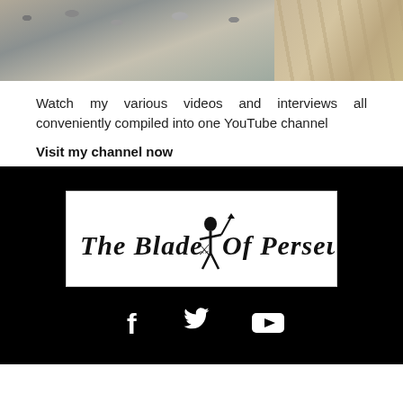[Figure (photo): Landscape photo strip showing rocky/snowy terrain on the left and sandy/stone texture on the right]
Watch my various videos and interviews all conveniently compiled into one YouTube channel
Visit my channel now
[Figure (logo): The Blade Of Perseus logo in blackletter/gothic font with a figure illustration in the middle]
[Figure (other): Social media icons: Facebook (f), Twitter (bird), YouTube (play button triangle) in white on black background]